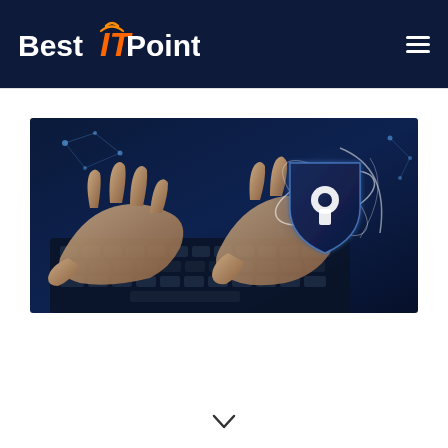Best IT Point
[Figure (illustration): Cybersecurity illustration: hands typing on a dark laptop keyboard with a glowing digital shield and keyhole hologram, connected nodes and orbit lines on a dark blue background]